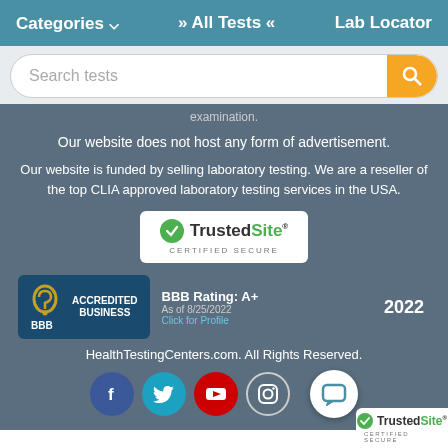Categories ▾   » All Tests «   Lab Locator
Search tests
examination.
Our website does not host any form of advertisement.
Our website is funded by selling laboratory testing. We are a reseller of the top CLIA approved laboratory testing services in the USA.
[Figure (logo): TrustedSite Certified Secure badge]
[Figure (logo): BBB Accredited Business badge with BBB Rating: A+ As of 8/25/2022, 2022]
HealthTestingCenters.com. All Rights Reserved.
[Figure (logo): Social media icons: Facebook, Twitter, YouTube, Instagram and chat button]
[Figure (logo): TrustedSite Certified Secure small badge bottom right]